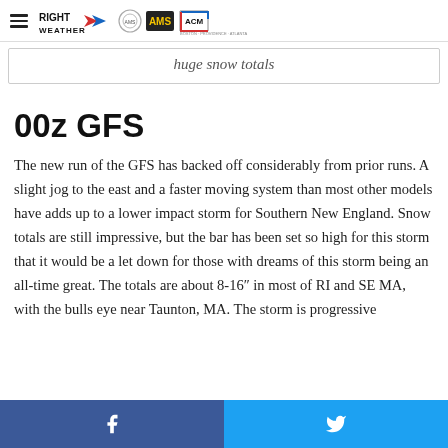RIGHT WEATHER | AMS | ACM logos and navigation
huge snow totals
00z GFS
The new run of the GFS has backed off considerably from prior runs. A slight jog to the east and a faster moving system than most other models have adds up to a lower impact storm for Southern New England. Snow totals are still impressive, but the bar has been set so high for this storm that it would be a let down for those with dreams of this storm being an all-time great. The totals are about 8-16″ in most of RI and SE MA, with the bulls eye near Taunton, MA. The storm is progressive